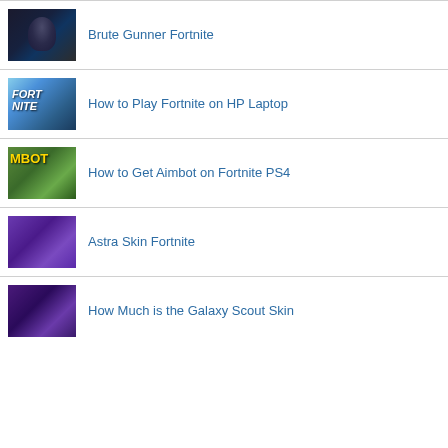Brute Gunner Fortnite
How to Play Fortnite on HP Laptop
How to Get Aimbot on Fortnite PS4
Astra Skin Fortnite
How Much is the Galaxy Scout Skin